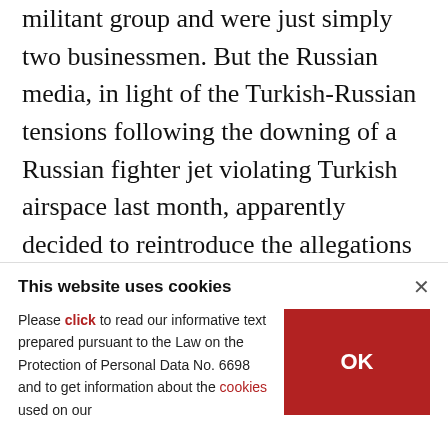militant group and were just simply two businessmen. But the Russian media, in light of the Turkish-Russian tensions following the downing of a Russian fighter jet violating Turkish airspace last month, apparently decided to reintroduce the allegations against the two men.
[Figure (photo): Interior photo showing a room with recessed ceiling lights, white ceiling with decorative molding, and partial view of a person on the right side]
This website uses cookies
Please click to read our informative text prepared pursuant to the Law on the Protection of Personal Data No. 6698 and to get information about the cookies used on our